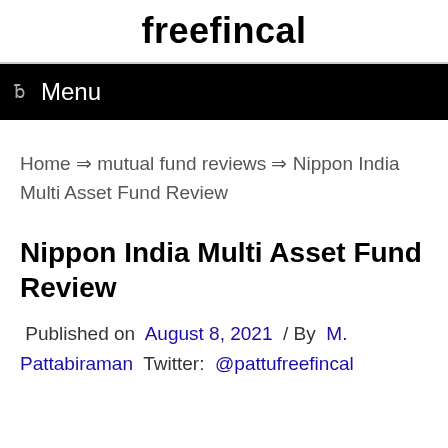freefincal
ƀ  Menu
Home ⇒ mutual fund reviews ⇒ Nippon India Multi Asset Fund Review
Nippon India Multi Asset Fund Review
Published on  August 8, 2021  / By  M. Pattabiraman  Twitter:  @pattufreefincal